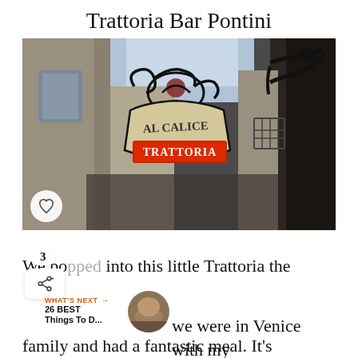Trattoria Bar Pontini
[Figure (photo): A narrow Italian street (Venice alley) with a decorative wrought-iron sign reading 'AL CALICE' above and 'TRATTORIA' in red letters on a white banner below. The sign hangs from an ornate black iron bracket. Buildings close in on both sides.]
We popped into this little Trattoria the we were in Venice with my family and had a fantastic meal. It's